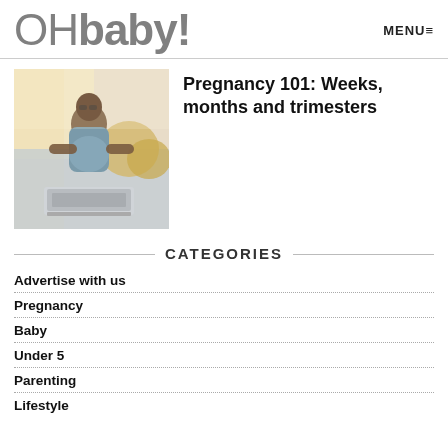OHbaby! MENU≡
[Figure (photo): Pregnant woman sitting on a couch working on a laptop, warm indoor lighting]
Pregnancy 101: Weeks, months and trimesters
CATEGORIES
Advertise with us
Pregnancy
Baby
Under 5
Parenting
Lifestyle